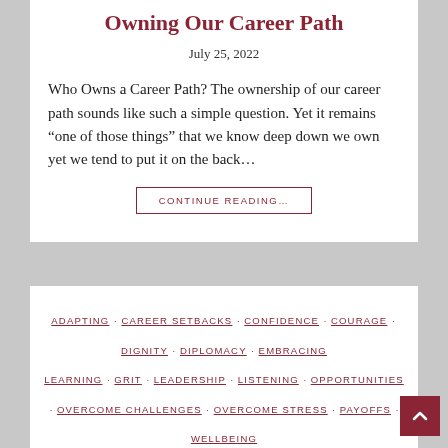Owning Our Career Path
July 25, 2022
Who Owns a Career Path? The ownership of our career path sounds like such a simple question. Yet it remains “one of those things” that we know deep down we own yet we tend to put it on the back…
CONTINUE READING…
ADAPTING · CAREER SETBACKS · CONFIDENCE · COURAGE · DIGNITY · DIPLOMACY · EMBRACING LEARNING · GRIT · LEADERSHIP · LISTENING · OPPORTUNITIES · OVERCOME CHALLENGES · OVERCOME STRESS · PAYOFFS · WELLBEING
Dealing Well with O…